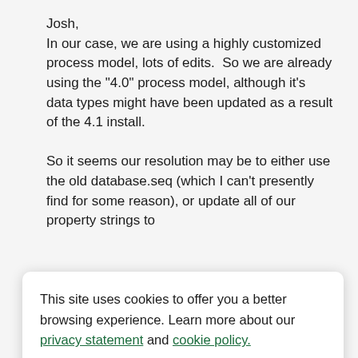Josh,
In our case, we are using a highly customized process model, lots of edits.  So we are already using the "4.0" process model, although it's data types might have been updated as a result of the 4.1 install.

So it seems our resolution may be to either use the old database.seq (which I can't presently find for some reason), or update all of our property strings to
This site uses cookies to offer you a better browsing experience. Learn more about our privacy statement and cookie policy.
Yes, I accept